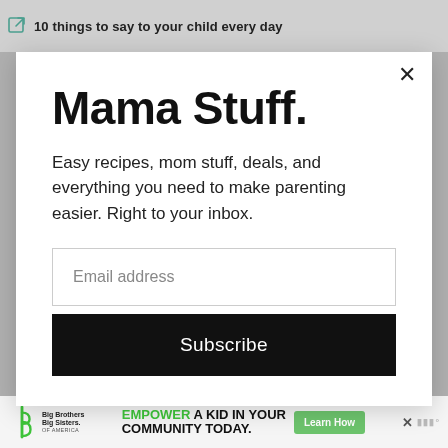10 things to say to your child every day
Mama Stuff.
Easy recipes, mom stuff, deals, and everything you need to make parenting easier. Right to your inbox.
Email address
Subscribe
[Figure (screenshot): Advertisement banner for Big Brothers Big Sisters of America with text 'Empower a kid in your community today.' and a green Learn How button]
EMPOWER A KID IN YOUR COMMUNITY TODAY.
Learn How